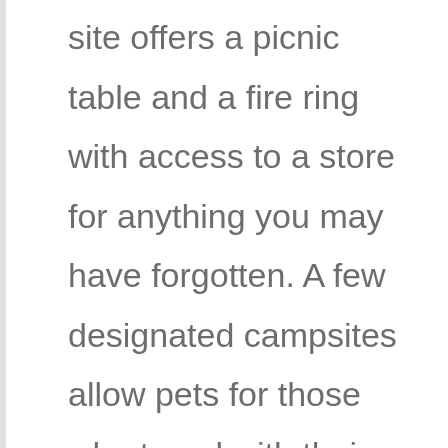site offers a picnic table and a fire ring with access to a store for anything you may have forgotten. A few designated campsites allow pets for those who travel with their furry companions.

If you're not into camping, you